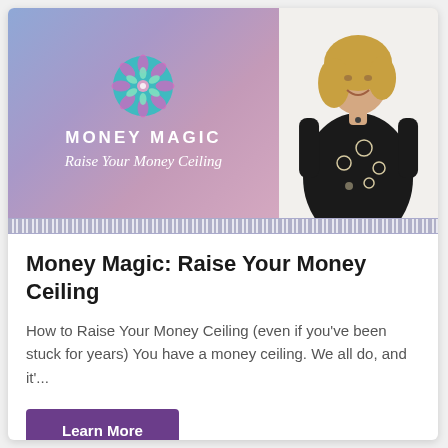[Figure (photo): Promotional card image split into two panels: left panel shows a purple-blue gradient background with a teal/pink mandala design at top and the text 'MONEY MAGIC Raise Your Money Ceiling' in white; right panel shows a woman with blonde hair wearing a black floral dress, smiling, against a light background. A decorative Greek key border separates the image from the content below.]
Money Magic: Raise Your Money Ceiling
How to Raise Your Money Ceiling (even if you've been stuck for years) You have a money ceiling. We all do, and it'...
Learn More